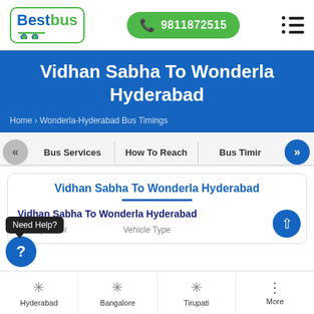[Figure (logo): BestBus logo with green and blue branding, phone number button 9811872515, and hamburger menu icon]
Vidhan Sabha To Wonderla Hyderabad
Home > Wonderla-Hyderabad Bus Timings
[Figure (screenshot): Navigation tabs: Bus Services | How To Reach | Bus Timir with left/right arrows]
Vidhan Sabha To Wonderla Hyderabad
Vidhan Sabha To Wonderla Hyderabad
s Operator    Vehicle Type
[Figure (screenshot): Bottom navigation bar with Hyderabad, Bangalore, Tirupati, More items]